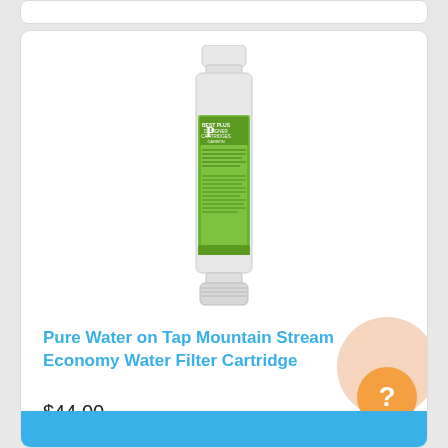[Figure (photo): Water filter cartridge with white plastic casing and green label reading DESIGNER CARTRIDGES / CARBON]
Pure Water on Tap Mountain Stream Economy Water Filter Cartridge
$44.00